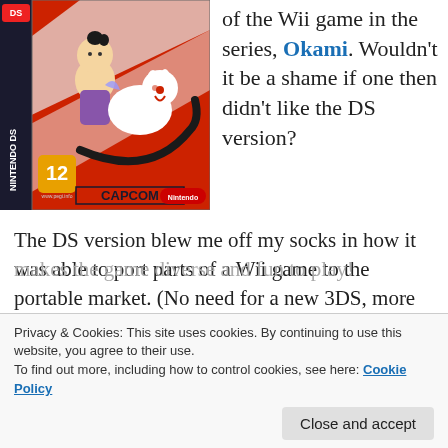[Figure (photo): Nintendo DS game box art for Okamiden by Capcom, showing anime-style characters including a small child and a white wolf-dog creature on a red and white background. The box has a PEGI 12 rating and Nintendo DS branding.]
of the Wii game in the series, Okami. Wouldn't it be a shame if one then didn't like the DS version?
The DS version blew me off my socks in how it was able to port parts of a Wii game to the portable market. (No need for a new 3DS, more ranting on that … later this month)
This game takes place a few years after Okami ended. Now you play the son of the great Japanase sun god. The
Privacy & Cookies: This site uses cookies. By continuing to use this website, you agree to their use.
To find out more, including how to control cookies, see here: Cookie Policy
makes the game diverse and fun to play!